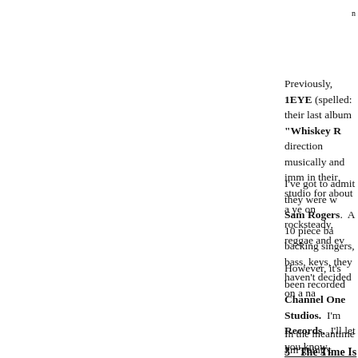n
Previously, 1EYE (spelled: their last album "Whiskey R direction musically and imm in their studio for about a ye on rocksteady, reggae and ev
I've got to admit they were w Sam Rogers.  A 10 piece ba backing singers, bass, keys, they haven't decided on a na
However, it's been recorded Channel One Studios.  I'm Records.  I'll let you know,
In the meantime I'm going t player is "The Time Is Her
3 “The Time Is Here” (3:5
[CONTINUOUS]
4 “Mujer de Cabaret” (3:0